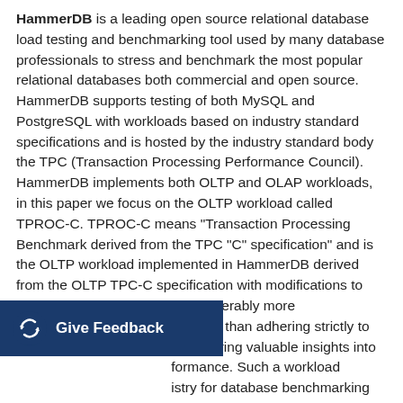HammerDB is a leading open source relational database load testing and benchmarking tool used by many database professionals to stress and benchmark the most popular relational databases both commercial and open source. HammerDB supports testing of both MySQL and PostgreSQL with workloads based on industry standard specifications and is hosted by the industry standard body the TPC (Transaction Processing Performance Council). HammerDB implements both OLTP and OLAP workloads, in this paper we focus on the OLTP workload called TPROC-C. TPROC-C means "Transaction Processing Benchmark derived from the TPC "C" specification" and is the OLTP workload implemented in HammerDB derived from the OLTP TPC-C specification with modifications to make running HammerDB considerably more straightforward and cost-effective than adhering strictly to the specification whilst still delivering valuable insights into performance. Such a workload is standard in the industry for database benchmarking to make comparison of database performance reliable
[Figure (other): Give Feedback button overlay with dark blue background, feedback icon (two circular arrows), and white text 'Give Feedback']